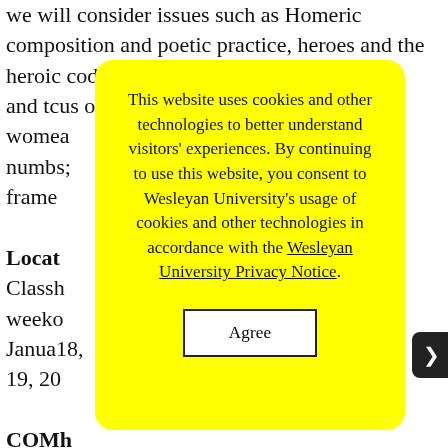we will consider issues such as Homeric composition and poetic practice, heroes and the heroic code, the relatio te, and th cus of wome a numb s, frame
Locat
Class h weeko Janua 18, 19, 20
COM h Pytho GenE
James Lipton
[Figure (screenshot): Yellow modal dialog box with cookie consent message: 'This website uses cookies and other technologies to better understand visitors' experiences. By continuing to use this website, you consent to Wesleyan University's usage of cookies and other technologies in accordance with the Wesleyan University Privacy Notice.' with an Agree button below.]